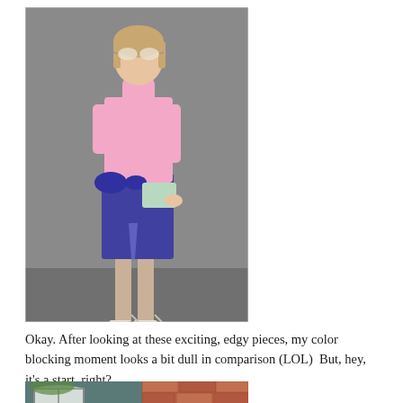[Figure (photo): Fashion photo of a woman wearing a pink turtleneck sweater, purple midi skirt with a bow tie, holding a mint green clutch, wearing white heels, against a gray background.]
Okay. After looking at these exciting, edgy pieces, my color blocking moment looks a bit dull in comparison (LOL)  But, hey, it’s a start, right?
[Figure (photo): Partial photo of a house exterior showing windows, teal/gray siding, and brick wall.]